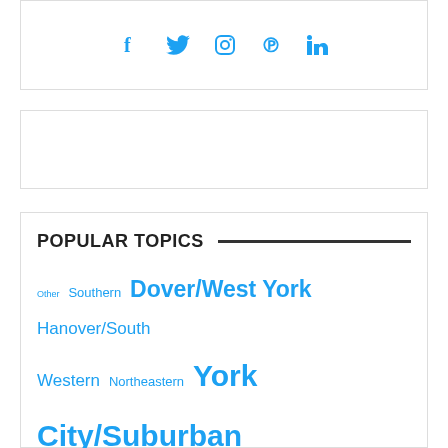[Figure (other): Social media icons: Facebook, Twitter, Instagram, Pinterest, LinkedIn in blue]
[Figure (other): Empty white box with border (advertisement/widget placeholder)]
POPULAR TOPICS
Other Southern Dover/West York Hanover/South Western Northeastern York City/Suburban Names of York Spring Grove Music Restaurants Only in York County Stores Things we say Around town Joan's randomness It used to be... County